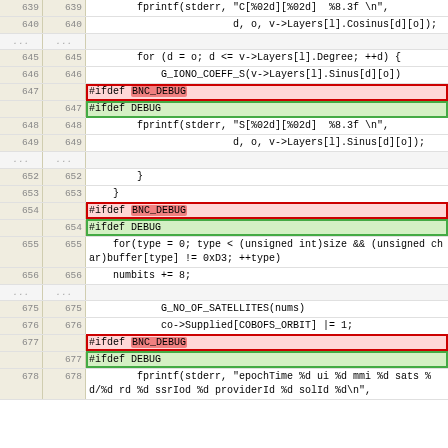| old_ln | new_ln | code |
| --- | --- | --- |
| 639 | 639 |         fprintf(stderr, "C[%02d][%02d]  %8.3f \n", |
| 640 | 640 |                         d, o, v->Layers[l].Cosinus[d][o]); |
| ... | ... |  |
| 645 | 645 |         for (d = o; d <= v->Layers[l].Degree; ++d) { |
| 646 | 646 |             G_IONO_COEFF_S(v->Layers[l].Sinus[d][o]) |
| 647 |  | #ifdef BNC_DEBUG |
|  | 647 | #ifdef DEBUG |
| 648 | 648 |         fprintf(stderr, "S[%02d][%02d]  %8.3f \n", |
| 649 | 649 |                         d, o, v->Layers[l].Sinus[d][o]); |
| ... | ... |  |
| 652 | 652 |         } |
| 653 | 653 |     } |
| 654 |  | #ifdef BNC_DEBUG |
|  | 654 | #ifdef DEBUG |
| 655 | 655 |     for(type = 0; type < (unsigned int)size && (unsigned char)buffer[type] != 0xD3; ++type) |
| 656 | 656 |     numbits += 8; |
| ... | ... |  |
| 675 | 675 |             G_NO_OF_SATELLITES(nums) |
| 676 | 676 |             co->Supplied[COBOFS_ORBIT] |= 1; |
| 677 |  | #ifdef BNC_DEBUG |
|  | 677 | #ifdef DEBUG |
| 678 | 678 |         fprintf(stderr, "epochTime %d ui %d mmi %d sats %d/%d rd %d ssrIod %d providerId %d solId %d\n", |